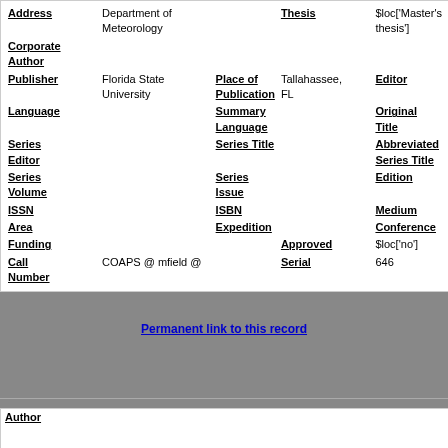| Address | Department of Meteorology |  | Thesis | $loc['Master's thesis'] |
| Corporate Author |  |  |  |  |
| Publisher | Florida State University | Place of Publication | Tallahassee, FL | Editor |
| Language |  | Summary Language |  | Original Title |
| Series Editor |  | Series Title |  | Abbreviated Series Title |
| Series Volume |  | Series Issue |  | Edition |
| ISSN |  | ISBN |  | Medium |
| Area |  | Expedition |  | Conference |
| Funding |  |  | Approved | $loc['no'] |
| Call Number | COAPS @ mfield @ |  | Serial | 646 |
Permanent link to this record
Author